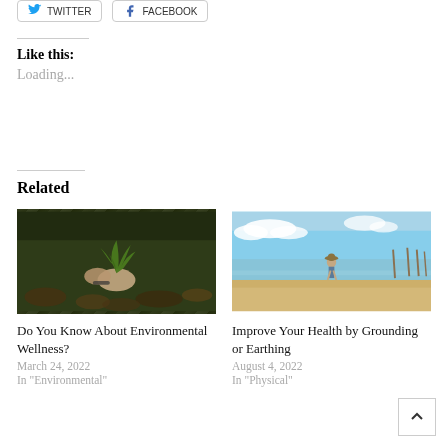[Figure (other): Twitter share button]
[Figure (other): Facebook share button]
Like this:
Loading...
Related
[Figure (photo): Hands holding a green fern leaf against autumn leaves on ground]
Do You Know About Environmental Wellness?
March 24, 2022
In "Environmental"
[Figure (photo): Person walking along beach shoreline with blue sky and calm water]
Improve Your Health by Grounding or Earthing
August 4, 2022
In "Physical"